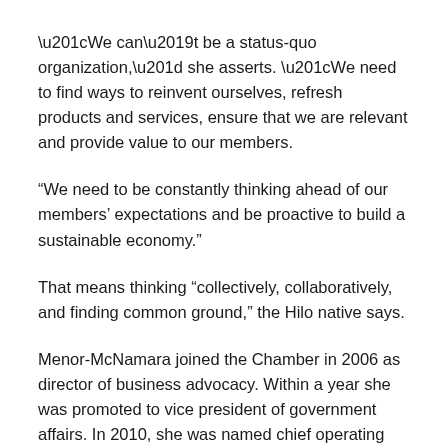“We can’t be a status-quo organization,” she asserts. “We need to find ways to reinvent ourselves, refresh products and services, ensure that we are relevant and provide value to our members.
“We need to be constantly thinking ahead of our members’ expectations and be proactive to build a sustainable economy.”
That means thinking “collectively, collaboratively, and finding common ground,” the Hilo native says.
Menor-McNamara joined the Chamber in 2006 as director of business advocacy. Within a year she was promoted to vice president of government affairs. In 2010, she was named chief operating officer and senior vice president. Last September, the board appointed her president and chief executive officer to succeed Jim Tollefson, who